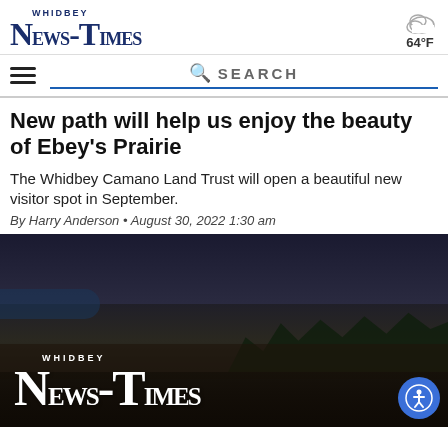Whidbey News-Times
64°F
SEARCH
New path will help us enjoy the beauty of Ebey's Prairie
The Whidbey Camano Land Trust will open a beautiful new visitor spot in September.
By Harry Anderson • August 30, 2022 1:30 am
[Figure (photo): Photo with Whidbey News-Times logo overlay on a dark scenic landscape background]